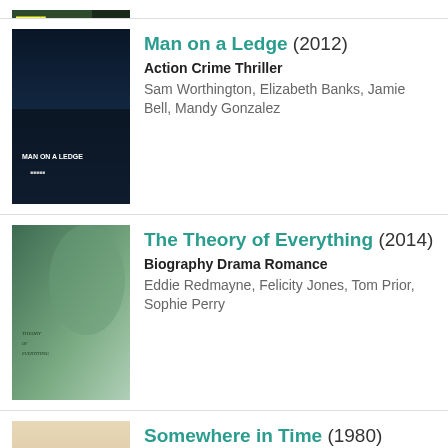[Figure (illustration): Partially visible movie poster at top of page (cropped)]
Man on a Ledge (2012) — Action Crime Thriller — Sam Worthington, Elizabeth Banks, Jamie Bell, Mandy Gonzalez
The Theory of Everything (2014) — Biography Drama Romance — Eddie Redmayne, Felicity Jones, Tom Prior, Sophie Perry
Somewhere in Time (1980) — Drama Fantasy Romance — Christopher Reeve, Jane Seymour, Christopher Plummer, Teresa Wright
Bad Times at the El Royale (2018) — Crime Drama Mystery Thriller